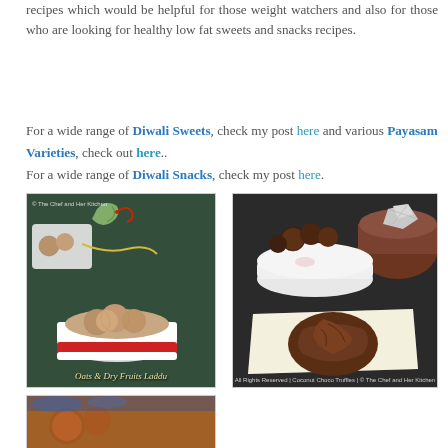recipes which would be helpful for those weight watchers and also for those who are looking for healthy low fat sweets and snacks recipes.
For a wide range of Diwali Sweets, check my post here and various Payasam Varieties, check out here.. For a wide range of Diwali Snacks, check my post here.
[Figure (photo): Photo of Oats & Dry Fruits Laddu - round oat balls in a white and red bowl with decorative elements on a dark green cloth]
[Figure (photo): Photo of Coconut Choco Truffles - round chocolate truffles in a white bowl and one broken truffle on parchment paper, with a brown bowl in background]
[Figure (photo): Partial photo of a third recipe item, partially cut off at the bottom of the page]